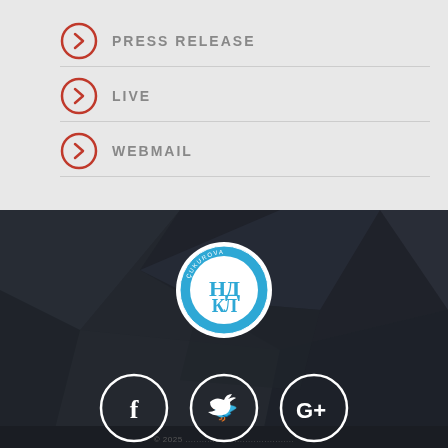PRESS RELEASE
LIVE
WEBMAIL
[Figure (logo): Circular blue and white club logo with Cyrillic/stylized letters in the center and text around the border]
[Figure (infographic): Three circular social media icons: Facebook (f), Twitter (bird), Google+ (G+), white on dark background]
© 2025 ...